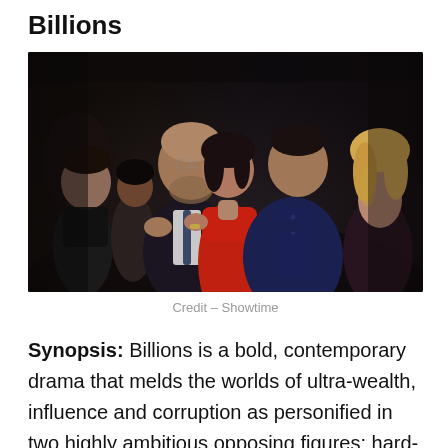Billions
[Figure (photo): Promotional cast photo for the TV show Billions showing six characters in dramatic poses. Two men face each other in the center foreground, with a woman in a red dress between them. Additional cast members visible in the background.]
Credit – Showtime
Synopsis: Billions is a bold, contemporary drama that melds the worlds of ultra-wealth, influence and corruption as personified in two highly ambitious opposing figures: hard-charging, blue-blooded,